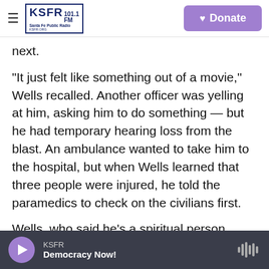KSFR 101.1 FM Santa Fe Public Radio — Donate
next.
"It just felt like something out of a movie," Wells recalled. Another officer was yelling at him, asking him to do something — but he had temporary hearing loss from the blast. An ambulance wanted to take him to the hospital, but when Wells learned that three people were injured, he told the paramedics to check on the civilians first.
Wells, who said he's a spiritual person, credited his survival to the voice in his head that told him to walk in the opposite direction.
KSFR — Democracy Now!